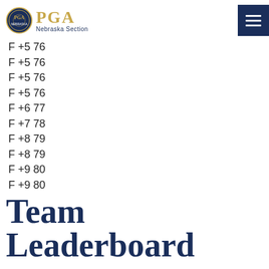PGA Nebraska Section
F +5 76
F +5 76
F +5 76
F +5 76
F +6 77
F +7 78
F +8 79
F +8 79
F +9 80
F +9 80
F +10 81
F +10 81
F +11 82
F +12 83
Team Leaderboard